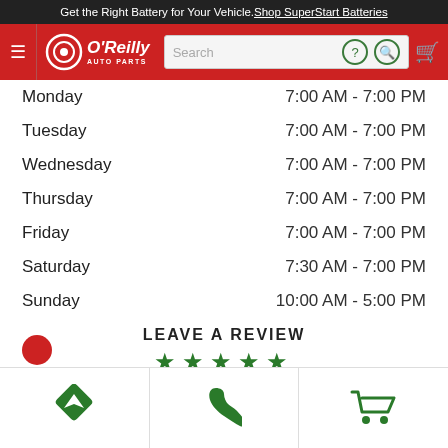Get the Right Battery for Your Vehicle. Shop SuperStart Batteries
[Figure (logo): O'Reilly Auto Parts logo with navigation bar including hamburger menu, search bar, help and search icons, and shopping cart]
| Day | Hours |
| --- | --- |
| Monday | 7:00 AM - 7:00 PM |
| Tuesday | 7:00 AM - 7:00 PM |
| Wednesday | 7:00 AM - 7:00 PM |
| Thursday | 7:00 AM - 7:00 PM |
| Friday | 7:00 AM - 7:00 PM |
| Saturday | 7:30 AM - 7:00 PM |
| Sunday | 10:00 AM - 5:00 PM |
LEAVE A REVIEW
[Figure (other): Five green star rating icons]
[Figure (infographic): Bottom navigation bar with directions arrow icon, phone icon, and shopping cart icon]